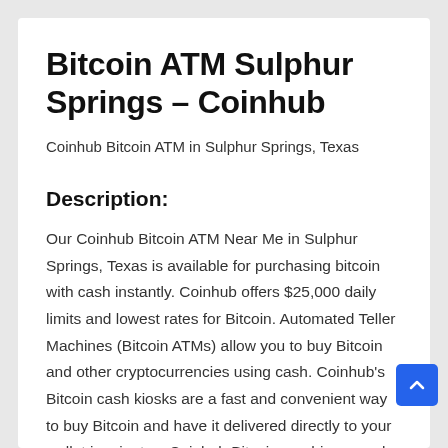Bitcoin ATM Sulphur Springs – Coinhub
Coinhub Bitcoin ATM in Sulphur Springs, Texas
Description:
Our Coinhub Bitcoin ATM Near Me in Sulphur Springs, Texas is available for purchasing bitcoin with cash instantly. Coinhub offers $25,000 daily limits and lowest rates for Bitcoin. Automated Teller Machines (Bitcoin ATMs) allow you to buy Bitcoin and other cryptocurrencies using cash. Coinhub's Bitcoin cash kiosks are a fast and convenient way to buy Bitcoin and have it delivered directly to your wallet in minutes. Coinhub Bitcoin machines can be used quickly and